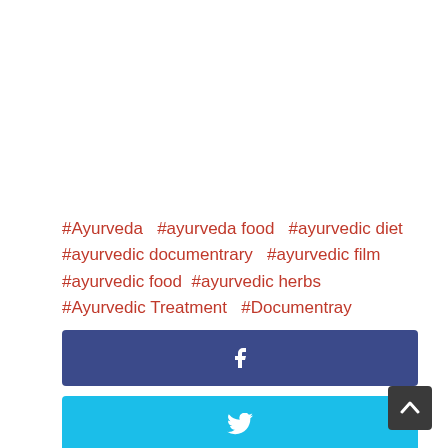#Ayurveda  #ayurveda food  #ayurvedic diet  #ayurvedic documentrary  #ayurvedic film  #ayurvedic food  #ayurvedic herbs  #Ayurvedic Treatment  #Documentray
[Figure (infographic): Three social share buttons: Facebook (dark blue with f icon), Twitter (cyan with bird icon), Google+ (red with G+ icon), and a partial fourth red button at the bottom. A dark scroll-to-top arrow button appears in the bottom-right corner.]